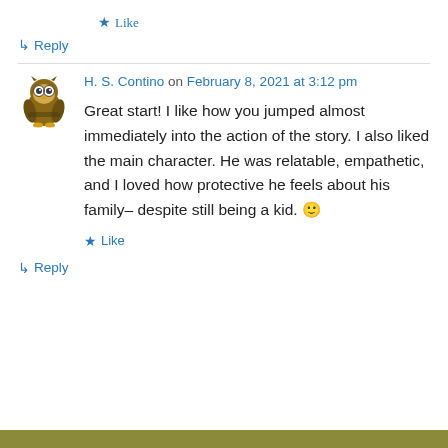★ Like
↳ Reply
H. S. Contino on February 8, 2021 at 3:12 pm
Great start! I like how you jumped almost immediately into the action of the story. I also liked the main character. He was relatable, empathetic, and I loved how protective he feels about his family– despite still being a kid. 🙂
★ Like
↳ Reply